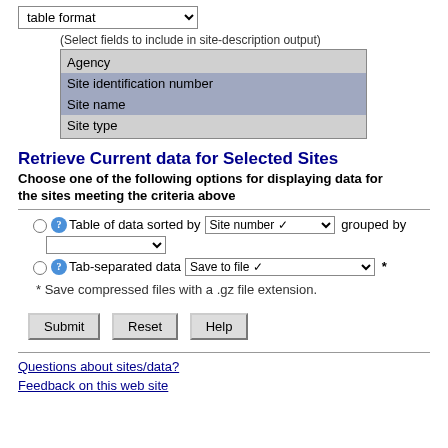table format (dropdown select)
(Select fields to include in site-description output)
Agency
Site identification number
Site name
Site type
Retrieve Current data for Selected Sites
Choose one of the following options for displaying data for the sites meeting the criteria above
Table of data sorted by [Site number] grouped by []
Tab-separated data [Save to file]  *
* Save compressed files with a .gz file extension.
Submit  Reset  Help
Questions about sites/data?
Feedback on this web site